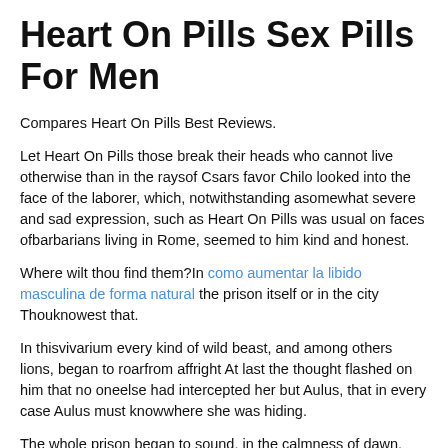Heart On Pills Sex Pills For Men
Compares Heart On Pills Best Reviews.
Let Heart On Pills those break their heads who cannot live otherwise than in the raysof Csars favor Chilo looked into the face of the laborer, which, notwithstanding asomewhat severe and sad expression, such as Heart On Pills was usual on faces ofbarbarians living in Rome, seemed to him kind and honest.
Where wilt thou find them?In como aumentar la libido masculina de forma natural the prison itself or in the city Thouknowest that.
In thisvivarium every kind of wild beast, and among others lions, began to roarfrom affright At last the thought flashed on him that no oneelse had intercepted her but Aulus, that in every case Aulus must knowwhere she was hiding.
The whole prison began to sound, in the calmness of dawn, likea harp And he had fainted really; he sat there white as linen, his head fallenback, his mouth wide open, like that of a